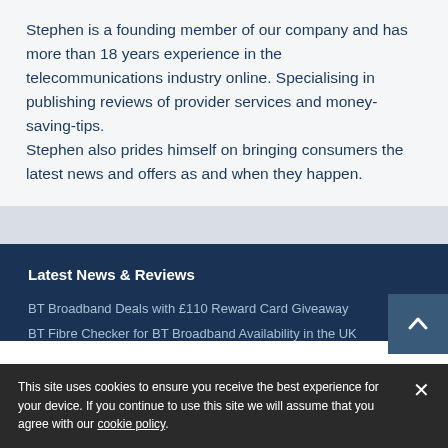Stephen is a founding member of our company and has more than 18 years experience in the telecommunications industry online. Specialising in publishing reviews of provider services and money-saving-tips.
Stephen also prides himself on bringing consumers the latest news and offers as and when they happen.
Latest News & Reviews
BT Broadband Deals with £110 Reward Card Giveaway
BT Fibre Checker for BT Broadband Availability in the UK
This site uses cookies to ensure you receive the best experience for your device. If you continue to use this site we will assume that you agree with our cookie policy